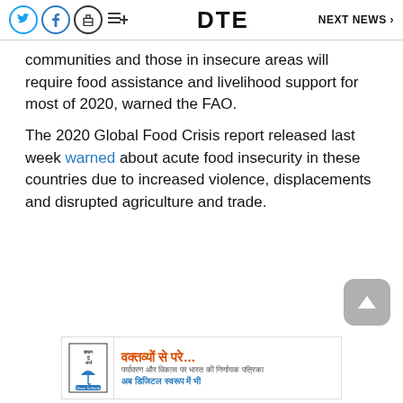DTE | NEXT NEWS >
communities and those in insecure areas will require food assistance and livelihood support for most of 2020, warned the FAO.
The 2020 Global Food Crisis report released last week warned about acute food insecurity in these countries due to increased violence, displacements and disrupted agriculture and trade.
[Figure (other): Advertisement banner in Hindi: वक्तव्यों से परे... with logo and subtext]